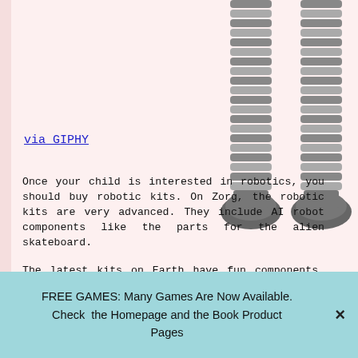[Figure (illustration): Partial view of a cartoon robot with grey striped legs and dark grey feet/boots, cut off at the top, visible on the right side of the page against a light pink background.]
via GIPHY
Once your child is interested in robotics, you should buy robotic kits. On Zorg, the robotic kits are very advanced. They include AI robot components like the parts for the alien skateboard.

The latest kits on Earth have fun components. In most cases, your child could complete these projects alone. However, with proper supervision, your kid
FREE GAMES: Many Games Are Now Available. Check the Homepage and the Book Product Pages